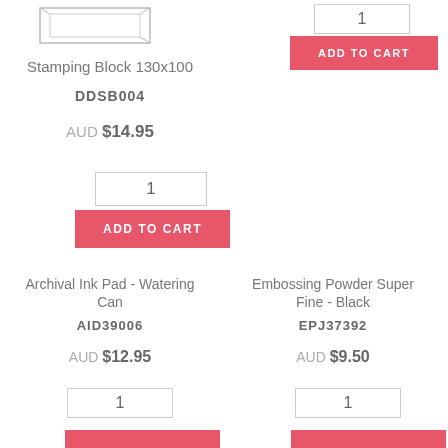[Figure (illustration): Stamping Block 130x100 product image - rectangular acrylic block]
Stamping Block 130x100
DDSB004
AUD $14.95
1
ADD TO CART
1
ADD TO CART
Archival Ink Pad - Watering Can
AID39006
AUD $12.95
Embossing Powder Super Fine - Black
EPJ37392
AUD $9.50
1
1